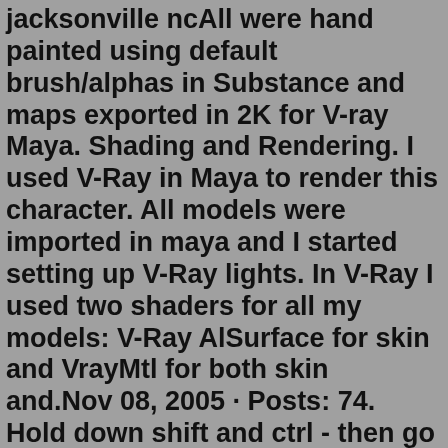jacksonville ncAll were hand painted using default brush/alphas in Substance and maps exported in 2K for V-ray Maya. Shading and Rendering. I used V-Ray in Maya to render this character. All models were imported in maya and I started setting up V-Ray lights. In V-Ray I used two shaders for all my models: V-Ray AlSurface for skin and VrayMtl for both skin and.Nov 08, 2005 · Posts: 74. Hold down shift and ctrl - then go to the Modify menu then release the mouse button, (when positioned over the Center Pivot command). The short cut will appear on the shelf that is currently active - so it's best to have the shelf you want the short cut in to be set first. If you select the wrong command, by mistake, you can middle ... Feb 18, 2015 · Hi, I'm running 2015 Extension with SP5. I am able to reset the pivot within the tool settings menus, but according to the help page referenced below, I should be able to right-click in a scene and select "Reset Pivot Position" or "Reset Pivot Orientation." I'm not seeing either one of those opti... Note Exposé hotkeys (F9, F10, F11, F12) may conflict